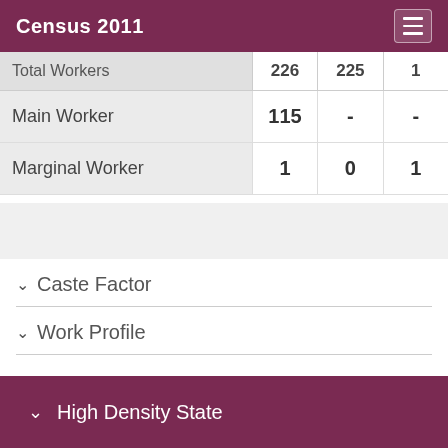Census 2011
|  |  |  |  |
| --- | --- | --- | --- |
| Total Workers | 226 | 225 | 1 |
| Main Worker | 115 | - | - |
| Marginal Worker | 1 | 0 | 1 |
Caste Factor
Work Profile
High Density State